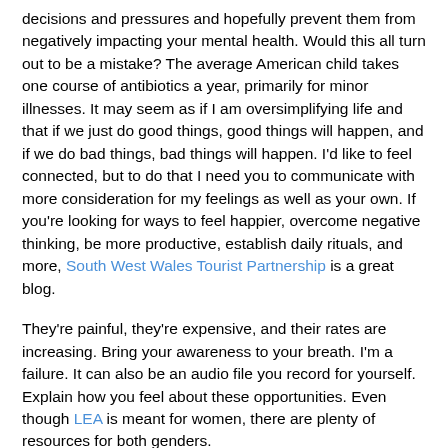decisions and pressures and hopefully prevent them from negatively impacting your mental health. Would this all turn out to be a mistake? The average American child takes one course of antibiotics a year, primarily for minor illnesses. It may seem as if I am oversimplifying life and that if we just do good things, good things will happen, and if we do bad things, bad things will happen. I'd like to feel connected, but to do that I need you to communicate with more consideration for my feelings as well as your own. If you're looking for ways to feel happier, overcome negative thinking, be more productive, establish daily rituals, and more, South West Wales Tourist Partnership is a great blog.
They're painful, they're expensive, and their rates are increasing. Bring your awareness to your breath. I'm a failure. It can also be an audio file you record for yourself. Explain how you feel about these opportunities. Even though LEA is meant for women, there are plenty of resources for both genders.
It is not unlike two children on opposite ends of a see-saw. Some might feel that Christina's plan for how to respond to Marc is catty, while others might feel it's actually a great way for her to